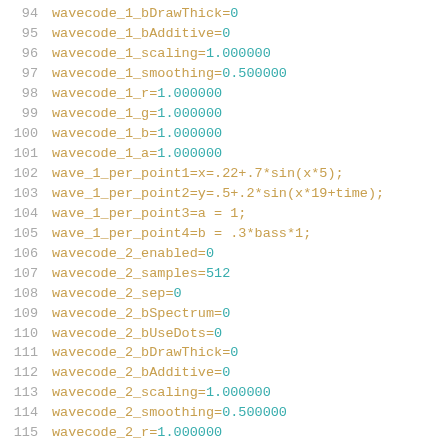94  wavecode_1_bDrawThick=0
95  wavecode_1_bAdditive=0
96  wavecode_1_scaling=1.000000
97  wavecode_1_smoothing=0.500000
98  wavecode_1_r=1.000000
99  wavecode_1_g=1.000000
100  wavecode_1_b=1.000000
101  wavecode_1_a=1.000000
102  wave_1_per_point1=x=.22+.7*sin(x*5);
103  wave_1_per_point2=y=.5+.2*sin(x*19+time);
104  wave_1_per_point3=a = 1;
105  wave_1_per_point4=b = .3*bass*1;
106  wavecode_2_enabled=0
107  wavecode_2_samples=512
108  wavecode_2_sep=0
109  wavecode_2_bSpectrum=0
110  wavecode_2_bUseDots=0
111  wavecode_2_bDrawThick=0
112  wavecode_2_bAdditive=0
113  wavecode_2_scaling=1.000000
114  wavecode_2_smoothing=0.500000
115  wavecode_2_r=1.000000